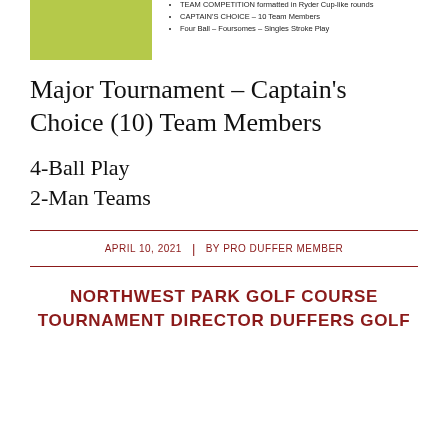[Figure (photo): Green golf course grass image (top left)]
TEAM COMPETITION formatted in Ryder Cup-like rounds
CAPTAIN'S CHOICE – 10 Team Members
Four Ball – Foursomes – Singles Stroke Play
Major Tournament – Captain's Choice (10) Team Members
4-Ball Play
2-Man Teams
APRIL 10, 2021 | BY PRO DUFFER MEMBER
NORTHWEST PARK GOLF COURSE TOURNAMENT DIRECTOR DUFFERS GOLF